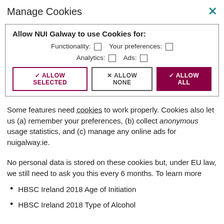Manage Cookies
[Figure (screenshot): Cookie consent modal overlay with options: Allow NUI Galway to use Cookies for: Functionality checkbox, Your preferences checkbox, Analytics checkbox, Ads checkbox. Three buttons: ALLOW SELECTED, ALLOW NONE, ALLOW ALL.]
Some features need cookies to work properly. Cookies also let us (a) remember your preferences, (b) collect anonymous usage statistics, and (c) manage any online ads for nuigalway.ie.
No personal data is stored on these cookies but, under EU law, we still need to ask you this every 6 months. To learn more about our use of cookies, view our Privacy Policy.
HBSC Ireland 2018 Age of Initiation
HBSC Ireland 2018 Type of Alcohol